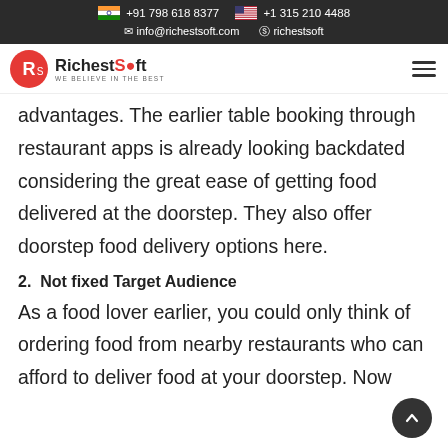+91 798 618 8377   +1 315 210 4488   info@richestsoft.com   richestsoft
RichestSoft WE BELIEVE IN THE BEST
advantages. The earlier table booking through restaurant apps is already looking backdated considering the great ease of getting food delivered at the doorstep. They also offer doorstep food delivery options here.
2.  Not fixed Target Audience
As a food lover earlier, you could only think of ordering food from nearby restaurants who can afford to deliver food at your doorstep. Now